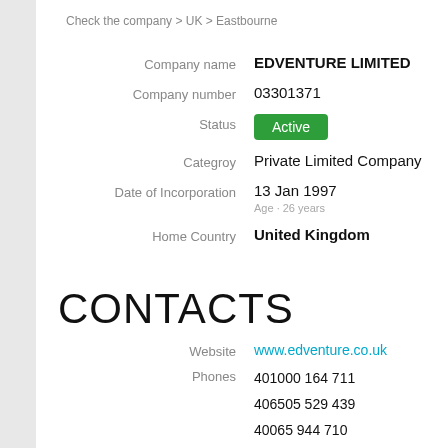Check the company > UK > Eastbourne
| Field | Value |
| --- | --- |
| Company name | EDVENTURE LIMITED |
| Company number | 03301371 |
| Status | Active |
| Categroy | Private Limited Company |
| Date of Incorporation | 13 Jan 1997
Age · 26 years |
| Home Country | United Kingdom |
CONTACTS
| Field | Value |
| --- | --- |
| Website | www.edventure.co.uk |
| Phones | 401000 164 711
406505 529 439
40065 944 710
40925 152 310 |